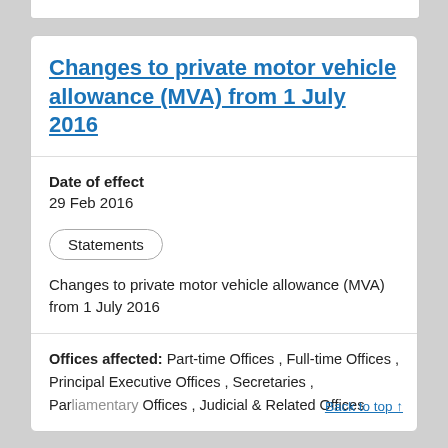Changes to private motor vehicle allowance (MVA) from 1 July 2016
Date of effect
29 Feb 2016
Statements
Changes to private motor vehicle allowance (MVA) from 1 July 2016
Offices affected: Part-time Offices , Full-time Offices , Principal Executive Offices , Secretaries , Parliamentary Offices , Judicial & Related Offices
Back to top ↑